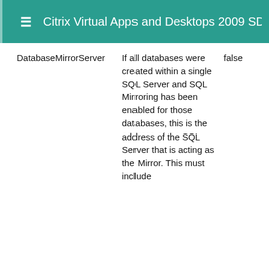Citrix Virtual Apps and Desktops 2009 SDK D
| DatabaseMirrorServer | If all databases were created within a single SQL Server and SQL Mirroring has been enabled for those databases, this is the address of the SQL Server that is acting as the Mirror. This must include | false |